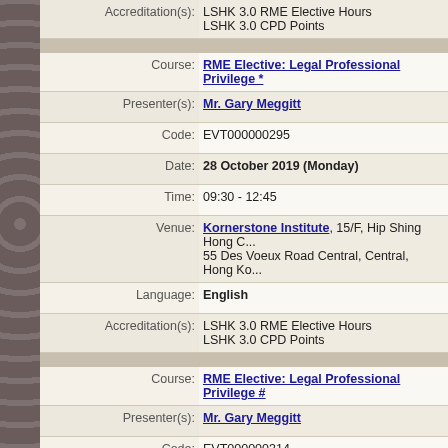| Field | Value |
| --- | --- |
| Accreditation(s): | LSHK 3.0 RME Elective Hours
LSHK 3.0 CPD Points |
| separator |  |
| Course: | RME Elective: Legal Professional Privilege * |
| Presenter(s): | Mr. Gary Meggitt |
| Code: | EVT000000295 |
| Date: | 28 October 2019 (Monday) |
| Time: | 09:30 - 12:45 |
| Venue: | Kornerstone Institute, 15/F, Hip Shing Hong C... 55 Des Voeux Road Central, Central, Hong Ko... |
| Language: | English |
| Accreditation(s): | LSHK 3.0 RME Elective Hours
LSHK 3.0 CPD Points |
| separator |  |
| Course: | RME Elective: Legal Professional Privilege # |
| Presenter(s): | Mr. Gary Meggitt |
| Code: | EVT000000314 |
| Date: | 6 October 2020 (Tuesday) |
| Time: | 14:30 - 17:45 |
| Venue: | Online via Zoom |